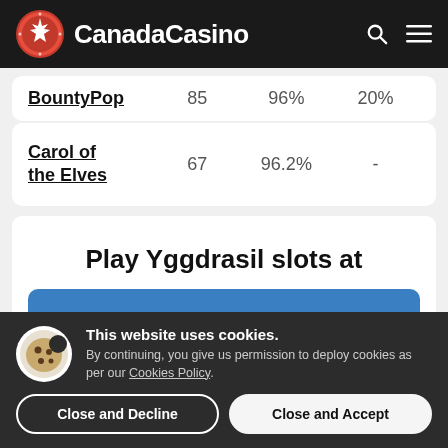CanadaCasino
| Game |  |  |  |
| --- | --- | --- | --- |
| BountyPop | 85 | 96% | 20% |
| Carol of the Elves | 67 | 96.2% | - |
Play Yggdrasil slots at
This website uses cookies. By continuing, you give us permission to deploy cookies as per our Cookies Policy.
Close and Decline | Close and Accept